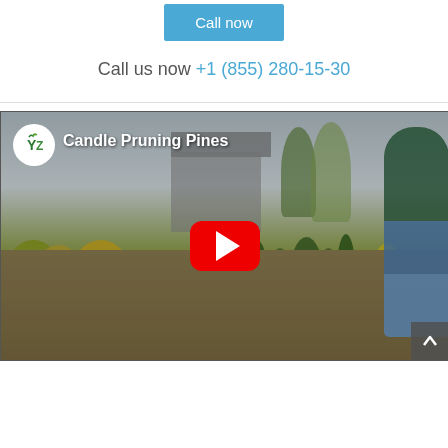Call now
Call us now +1 (855) 280-15-30
[Figure (screenshot): YouTube video thumbnail showing a man in a green jacket standing among various potted conifer shrubs in a nursery garden setting. The video title reads 'Candle Pruning Pines' with a YZ channel logo in the top left corner and a red YouTube play button in the center.]